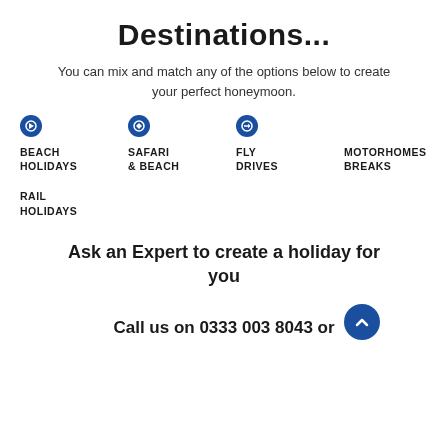Destinations...
You can mix and match any of the options below to create your perfect honeymoon.
BEACH HOLIDAYS
SAFARI & BEACH
FLY DRIVES
MOTORHOMES BREAKS
RAIL HOLIDAYS
Ask an Expert to create a holiday for you
Call us on 0333 003 8043 or